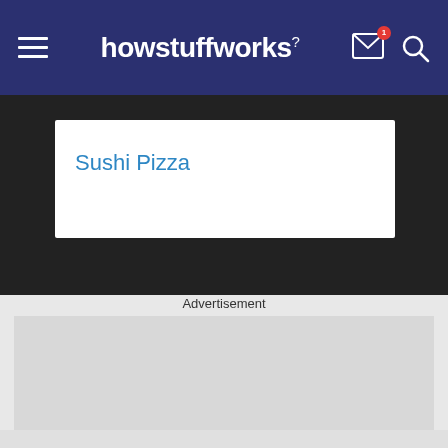howstuffworks
Sushi Pizza
Advertisement
[Figure (other): Gray advertisement placeholder box]